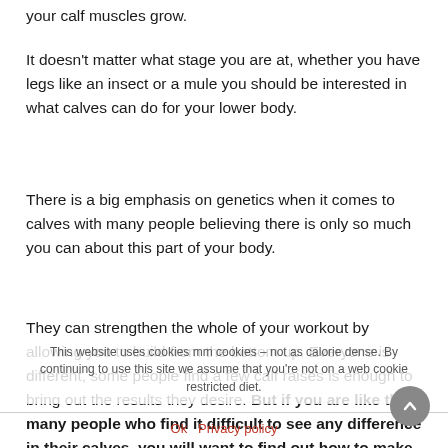your calf muscles grow.
It doesn’t matter what stage you are at, whether you have legs like an insect or a mule you should be interested in what calves can do for your lower body.
There is a big emphasis on genetics when it comes to calves with many people believing there is only so much you can about this part of your body.
They can strengthen the whole of your workout by allowing you to build from the bottom up. Everyone is different, some people find a few calf raises is enough to bring out the results they desire. But if you are like the many people who find it difficult to see any difference in their calves, you will want to find out how to make your calf muscles grow.
This website uses cookies... By continuing to use this site we assume that you’re not on a web cookie restricted diet.
Ok  Privacy policy